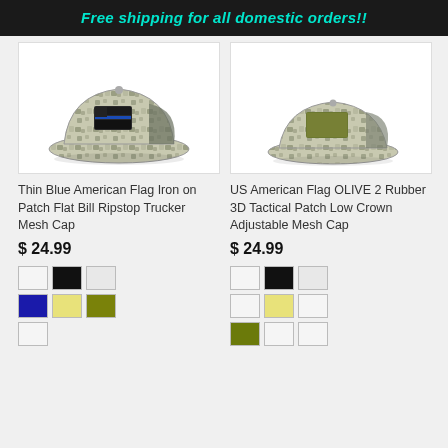Free shipping for all domestic orders!!
[Figure (photo): Camo trucker mesh cap with thin blue line American flag patch]
[Figure (photo): Camo low crown adjustable mesh cap with olive American flag patch]
Thin Blue American Flag Iron on Patch Flat Bill Ripstop Trucker Mesh Cap
US American Flag OLIVE 2 Rubber 3D Tactical Patch Low Crown Adjustable Mesh Cap
$ 24.99
$ 24.99